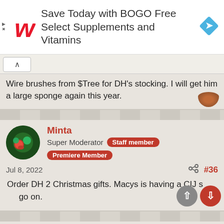[Figure (infographic): Walgreens advertisement banner: 'Save Today with BOGO Free Select Supplements and Vitamins' with Walgreens logo and navigation arrow icon]
Wire brushes from $Tree for DH's stocking. I will get him a large sponge again this year.
Minta
Super Moderator  Staff member  Premiere Member
Jul 8, 2022  #36
Order DH 2 Christmas gifts. Macys is having a CIJ sale going on.
Lori K
Well-Known Member  Premiere Member